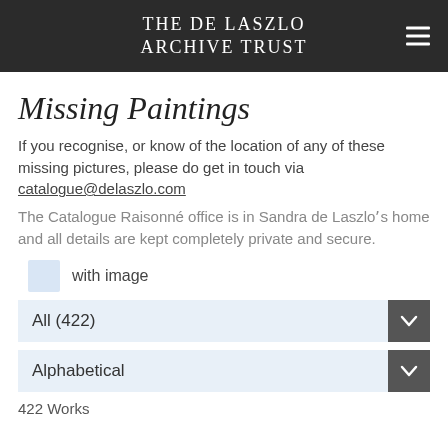The de Laszlo Archive Trust
Missing Paintings
If you recognise, or know of the location of any of these missing pictures, please do get in touch via catalogue@delaszlo.com
The Catalogue Raisonné office is in Sandra de Laszloʼs home and all details are kept completely private and secure.
with image
All (422)
Alphabetical
422 Works